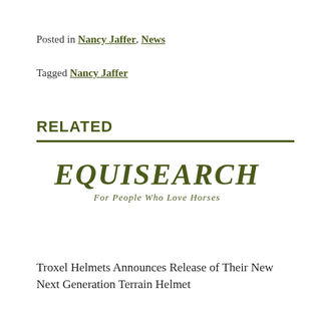Posted in Nancy Jaffer, News
Tagged Nancy Jaffer
RELATED
[Figure (logo): EquiSearch logo with tagline 'For People Who Love Horses']
Troxel Helmets Announces Release of Their New Next Generation Terrain Helmet